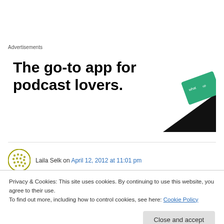Advertisements
[Figure (illustration): Advertisement for a podcast app. Bold text reads 'The go-to app for podcast lovers.' with an image of a phone/app icon in black and green on the right.]
Laila Selk on April 12, 2012 at 11:01 pm
Well, here I was, going along blissfully in my life
Privacy & Cookies: This site uses cookies. By continuing to use this website, you agree to their use.
To find out more, including how to control cookies, see here: Cookie Policy
Close and accept
then began to feel badly and took it all so